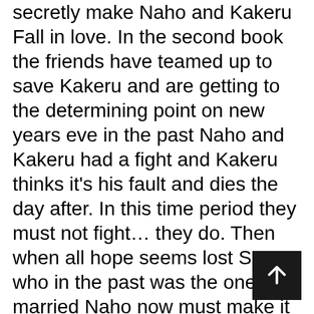secretly make Naho and Kakeru Fall in love. In the second book the friends have teamed up to save Kakeru and are getting to the determining point on new years eve in the past Naho and Kakeru had a fight and Kakeru thinks it's his fault and dies the day after. In this time period they must not fight… they do. Then when all hope seems lost Suwa who in the past was the one who married Naho now must make it better between Naho and Kakeru. In the nick of time he gives Naho courage to tell Kakeru how she feels. But everything was to be decided on the next day.
They go to the spot where last Kakeru died and wait, they see Kakeru on the road where he was supposed to die. Then next and...